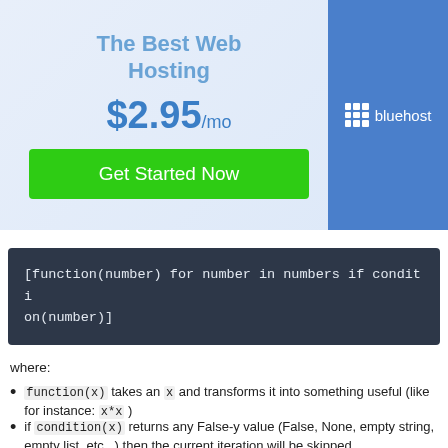[Figure (infographic): Bluehost web hosting advertisement banner showing price $2.95/mo with a 'Get Started Now' green button and Bluehost logo on blue sidebar]
where:
function(x) takes an x and transforms it into something useful (like for instance: x*x )
if condition(x) returns any False-y value (False, None, empty string, empty list, etc ..) then the current iteration will be skipped